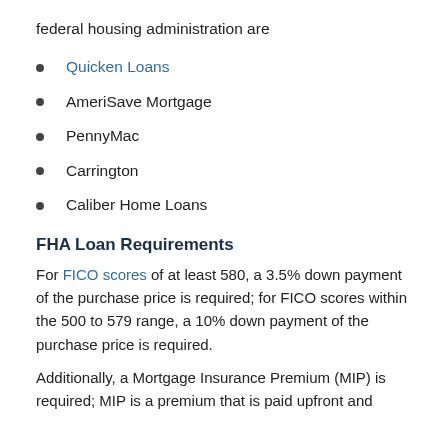federal housing administration are
Quicken Loans
AmeriSave Mortgage
PennyMac
Carrington
Caliber Home Loans
FHA Loan Requirements
For FICO scores of at least 580, a 3.5% down payment of the purchase price is required; for FICO scores within the 500 to 579 range, a 10% down payment of the purchase price is required.
Additionally, a Mortgage Insurance Premium (MIP) is required; MIP is a premium that is paid upfront and